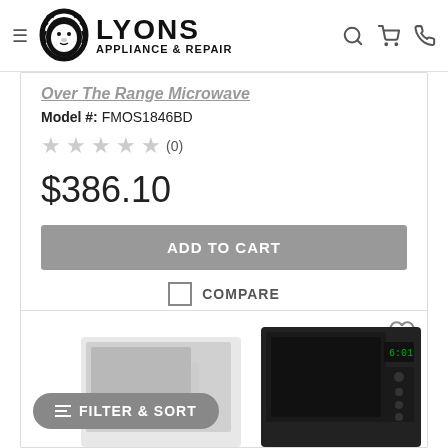LYONS APPLIANCE & REPAIR
Over The Range Microwave
Model #: FMOS1846BD
(0)
$386.10
ADD TO CART
COMPARE
[Figure (photo): Product listing card showing a Frigidaire over-the-range microwave in stainless steel/black with heart (wishlist) icon and a Filter & Sort button overlay]